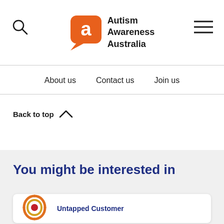[Figure (logo): Autism Awareness Australia logo: orange speech bubble with white letter 'a', beside bold text 'Autism Awareness Australia']
About us   Contact us   Join us
Back to top ∧
You might be interested in
[Figure (logo): Circular target/bullseye icon in orange, gold, and red — logo for Untapped Customer card]
Untapped Customer